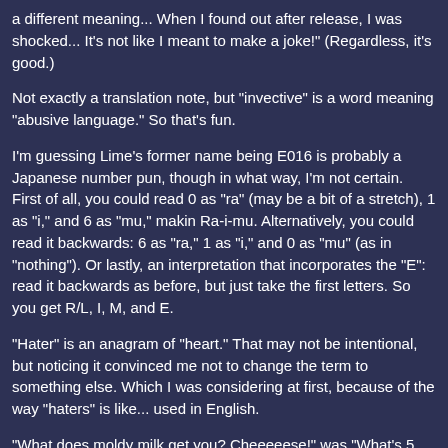a different meaning... When I found out after release, I was shocked... It's not like I meant to make a joke!" (Regardless, it's good.)
Not exactly a translation note, but "invective" is a word meaning "abusive language." So that's fun.
I'm guessing Lime's former name being E016 is probably a Japanese number pun, though in what way, I'm not certain. First of all, you could read 0 as "ra" (may be a bit of a stretch), 1 as "i," and 6 as "mu," making Ra-i-mu. Alternatively, you could read it backwards: 6 as "ra," 1 as "i," and 0 as "mu" (as in "nothing"). Or lastly, an interpretation that incorporates the "E": read it backwards as before, but just take the first letters. So you get R/L, I, M, and E.
"Hater" is an anagram of "heart." That may not be intentional, but noticing it convinced me not to change the term to something else. Which I was considering at first, because of the way "haters" is like... used in English.
"What does moldy milk get you? Cheeeeese!" was "What's 5 minus 3? 2!" Or rather, "niiiii!" Like "cheese," it makes you "smile" while saying it, and is short for "nikoniko," smiling. Yes, this is also sort of the explanation behind "Nico Nico Nii."